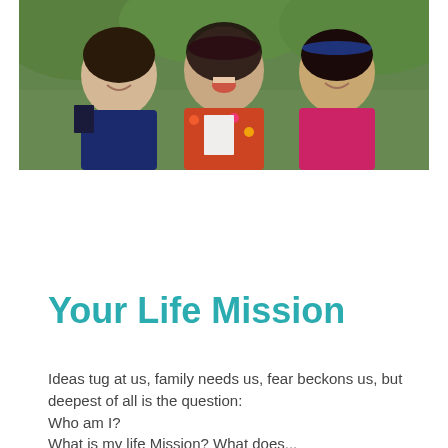[Figure (photo): Three smiling women posing together outdoors with green foliage in the background. The woman on the left wears a dark blue jacket and holds a book, the middle woman wears a colorful floral outfit and a dark red headband with her mouth open laughing, and the woman on the right wears a pink top.]
Your Life Mission
Ideas tug at us, family needs us, fear beckons us, but deepest of all is the question: Who am I? What is my life Mission? What does...